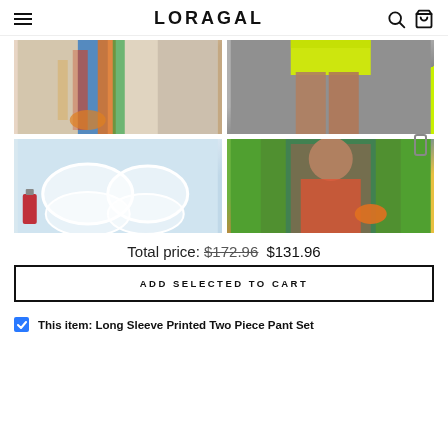LORAGAL
[Figure (photo): Colorful scarves/accessories on stairs]
[Figure (photo): Woman wearing yellow/green shorts, lower body shown]
[Figure (photo): Clear/transparent bra cups product photo with lipstick]
[Figure (photo): Woman in colorful floral printed two piece pant set with orange handbag outdoors]
Total price: $172.96 $131.96
ADD SELECTED TO CART
This item: Long Sleeve Printed Two Piece Pant Set